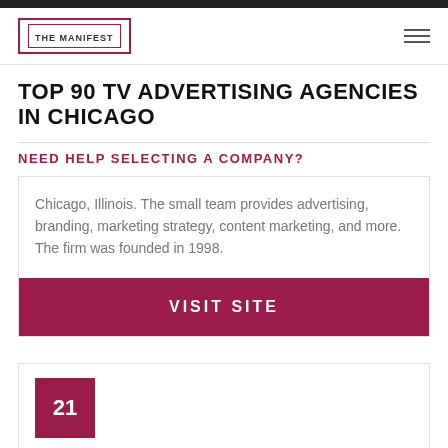THE MANIFEST
TOP 90 TV ADVERTISING AGENCIES IN CHICAGO
NEED HELP SELECTING A COMPANY?
Chicago, Illinois. The small team provides advertising, branding, marketing strategy, content marketing, and more. The firm was founded in 1998.
VISIT SITE
21
JAYNE